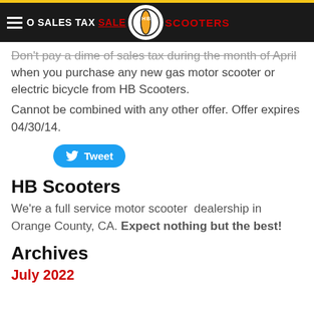0 SALES TAX SALE HB SCOOTERS
Don't pay a dime of sales tax during the month of April when you purchase any new gas motor scooter or electric bicycle from HB Scooters.
Cannot be combined with any other offer. Offer expires 04/30/14.
[Figure (other): Tweet button with Twitter bird icon]
HB Scooters
We're a full service motor scooter dealership in Orange County, CA. Expect nothing but the best!
Archives
July 2022